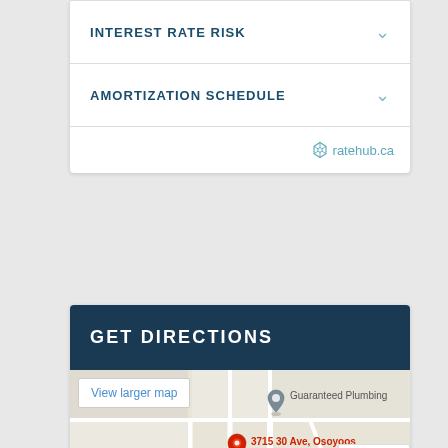INTEREST RATE RISK
AMORTIZATION SCHEDULE
ratehub.ca
GET DIRECTIONS
View larger map
[Figure (map): Google Map showing location pin at 3715 30 Ave, Osoyoos BC V0H 1V6, Canada, with nearby Guaranteed Plumbing marker]
3715 30 Ave, Osoyoos BC V0H 1V6, Canada
Privacy · Terms